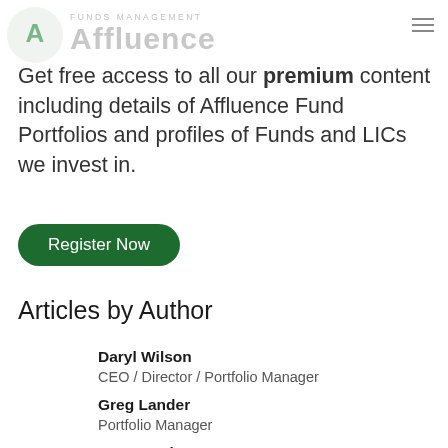Affluence FUNDS MANAGEMENT
Get free access to all our premium content including details of Affluence Fund Portfolios and profiles of Funds and LICs we invest in.
Register Now
Articles by Author
Daryl Wilson
CEO / Director / Portfolio Manager
Greg Lander
Portfolio Manager
Kane Doyle
Portfolio Manager